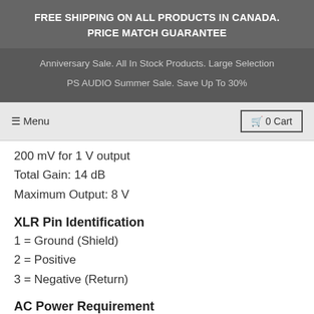FREE SHIPPING ON ALL PRODUCTS IN CANADA. PRICE MATCH GUARANTEE
Anniversary Sale. All In Stock Products. Large Selection
PS AUDIO Summer Sale. Save Up To 30%
☰ Menu   🛒 0 Cart
200 mV for 1 V output
Total Gain: 14 dB
Maximum Output: 8 V
XLR Pin Identification
1 = Ground (Shield)
2 = Positive
3 = Negative (Return)
AC Power Requirement
110 - 120 V or 220-240 V, 50 - 60 Hzs
(AutoVoltage switch recommended)